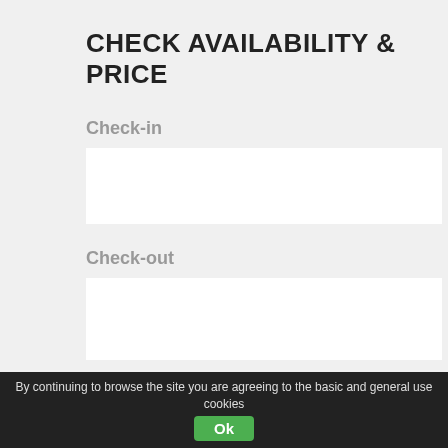CHECK AVAILABILITY & PRICE
Check-in
Check-out
Adults
Children
1
0
Search
By continuing to browse the site you are agreeing to the basic and general use cookies
Ok